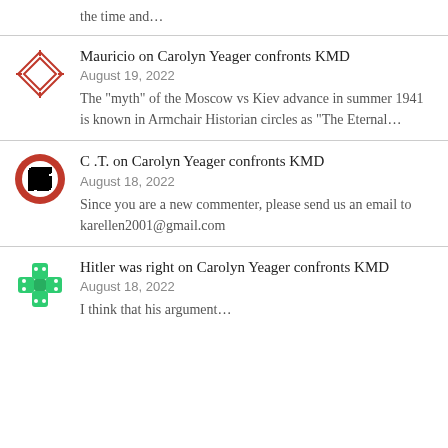the time and…
Mauricio on Carolyn Yeager confronts KMD
August 19, 2022
The "myth" of the Moscow vs Kiev advance in summer 1941 is known in Armchair Historian circles as "The Eternal…
C .T. on Carolyn Yeager confronts KMD
August 18, 2022
Since you are a new commenter, please send us an email to karellen2001@gmail.com
Hitler was right on Carolyn Yeager confronts KMD
August 18, 2022
I think that his argument…